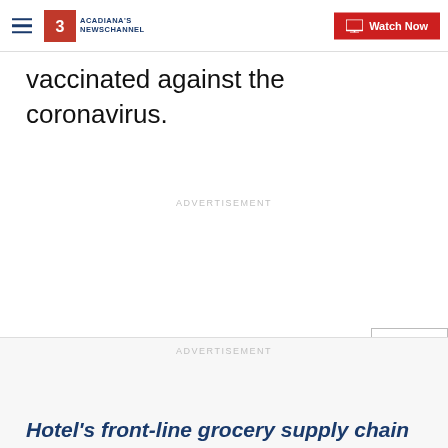Acadiana's Newschannel — Watch Now
vaccinated against the coronavirus.
ADVERTISEMENT
CLOSE
ADVERTISEMENT
Hotel's front-line grocery supply chain